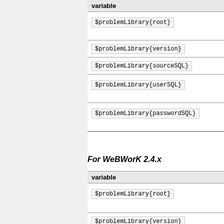| variable |
| --- |
| $problemLibrary{root} |
| $problemLibrary{version} |
| $problemLibrary{sourceSQL} |
| $problemLibrary{userSQL} |
| $problemLibrary{passwordSQL} |
For WeBWorK 2.4.x
| variable |
| --- |
| $problemLibrary{root} |
| $problemLibrary{version} |
| $problemLibrary_db{dbsource} |